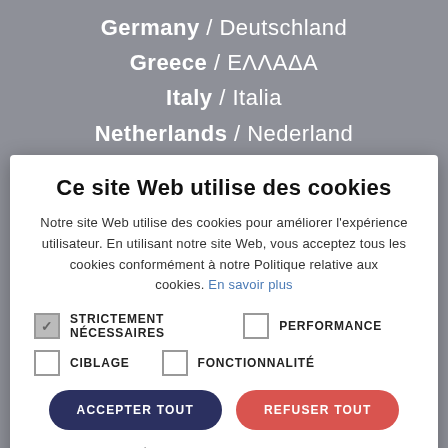Germany / Deutschland
Greece / ΕΛΛΑΔΑ
Italy / Italia
Netherlands / Nederland
Ce site Web utilise des cookies
Notre site Web utilise des cookies pour améliorer l'expérience utilisateur. En utilisant notre site Web, vous acceptez tous les cookies conformément à notre Politique relative aux cookies. En savoir plus
STRICTEMENT NÉCESSAIRES   PERFORMANCE   CIBLAGE   FONCTIONNALITÉ
ACCEPTER TOUT   REFUSER TOUT
AFFICHER LES DÉTAILS